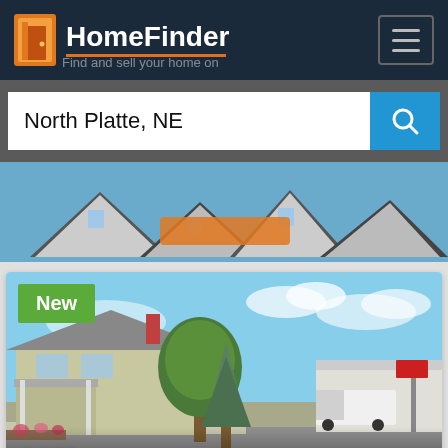HomeFinder
North Platte, NE
[Figure (photo): Strip of house rooftops with blue sky background]
[Figure (photo): Street-level view of North Platte NE neighborhood showing a small house, large tree, and commercial building. Badge labeled 'New'. Address text '14Th' visible at bottom.]